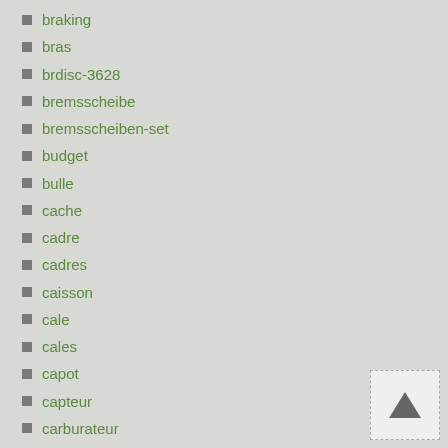braking
bras
brdisc-3628
bremsscheibe
bremsscheiben-set
budget
bulle
cache
cadre
cadres
caisson
cale
cales
capot
capteur
carburateur
carcasa
carenage
carry